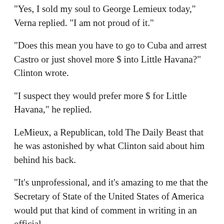“Yes, I sold my soul to George Lemieux today,” Verna replied. “I am not proud of it.”
“Does this mean you have to go to Cuba and arrest Castro or just shovel more $ into Little Havana?” Clinton wrote.
“I suspect they would prefer more $ for Little Havana,” he replied.
LeMieux, a Republican, told The Daily Beast that he was astonished by what Clinton said about him behind his back.
“It’s unprofessional, and it’s amazing to me that the Secretary of State of the United States of America would put that kind of comment in writing in an official